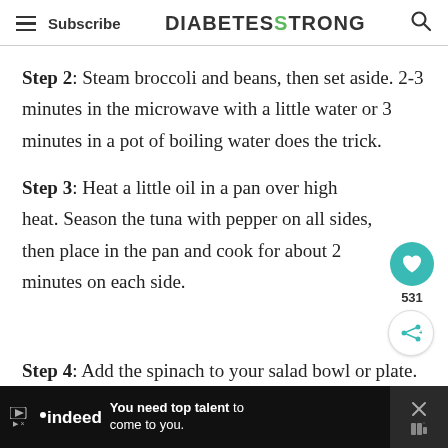Subscribe | DIABETESTRONG
Step 2: Steam broccoli and beans, then set aside. 2-3 minutes in the microwave with a little water or 3 minutes in a pot of boiling water does the trick.
Step 3: Heat a little oil in a pan over high heat. Season the tuna with pepper on all sides, then place in the pan and cook for about 2 minutes on each side.
Step 4: Add the spinach to your salad bowl or plate.
[Figure (other): Indeed advertisement banner: 'You need top talent to come to you.']